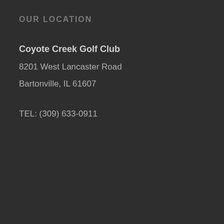OUR LOCATION
Coyote Creek Golf Club
8201 West Lancaster Road
Bartonville, IL 61607
TEL: (309) 633-0911